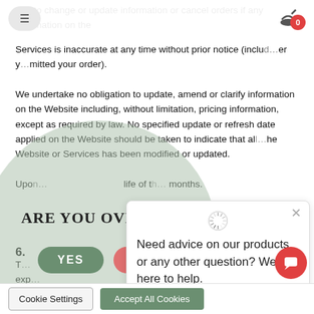and to change or update information or cancel orders if any information on the Services is inaccurate at any time without prior notice (including after you have submitted your order).
We undertake no obligation to update, amend or clarify information on the Website including, without limitation, pricing information, except as required by law. No specified update or refresh date applied on the Website should be taken to indicate that all information on the Website or Services has been modified or updated.
Upon submission of your order, the life of the X months.
[Figure (screenshot): Age verification modal overlay with circular green-grey background. Title reads 'ARE YOU OVER 18?' with YES (green rounded button) and NO (pink/red partially visible) buttons. Disclaimer text at bottom: 'In most countries where CBD products containing CBD are prohibited to minors.']
6.
The expiry Policy.
[Figure (screenshot): Chat popup box with spinner icon, X close button, and text: 'Need advice on our products or any other question? We are here to help.']
Cookie Settings   Accept All Cookies
[Figure (screenshot): Red circular chat FAB button at bottom right.]